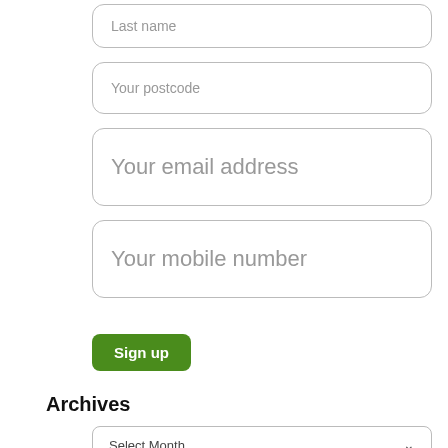Last name
Your postcode
Your email address
Your mobile number
Sign up
Archives
Select Month